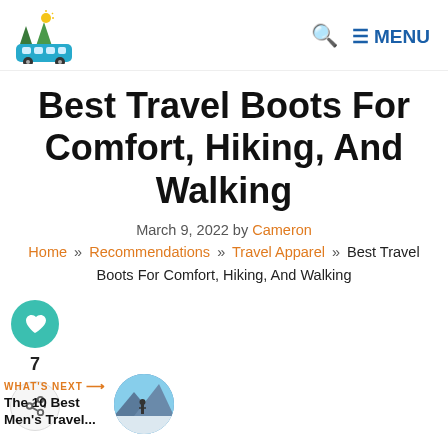THE WORLD PURSUIT [logo] | Search | MENU
Best Travel Boots For Comfort, Hiking, And Walking
March 9, 2022 by Cameron
Home » Recommendations » Travel Apparel » Best Travel Boots For Comfort, Hiking, And Walking
[Figure (other): Heart/like button showing 7 likes and a share button]
WHAT'S NEXT → The 10 Best Men's Travel....